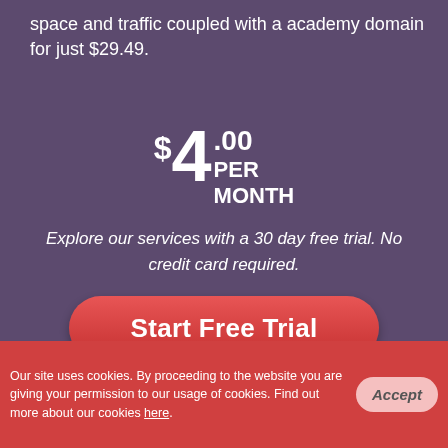space and traffic coupled with a academy domain for just $29.49.
$4.00 PER MONTH
Explore our services with a 30 day free trial. No credit card required.
Start Free Trial
View Demo
Take a Tour
Live Chat
Our site uses cookies. By proceeding to the website you are giving your permission to our usage of cookies. Find out more about our cookies here.
Accept